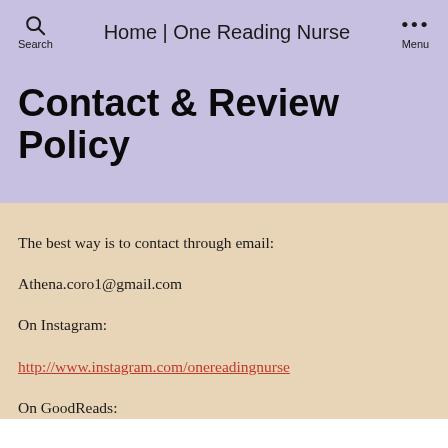Search | Home | One Reading Nurse | Menu
Contact & Review Policy
The best way is to contact through email:
Athena.coro1@gmail.com
On Instagram:
http://www.instagram.com/onereadingnurse
On GoodReads: